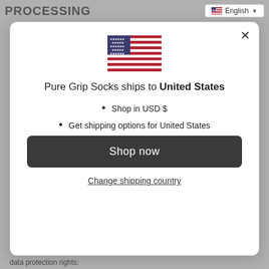PROCESSING
English
[Figure (illustration): US flag icon inside modal dialog]
Pure Grip Socks ships to United States
Shop in USD $
Get shipping options for United States
Shop now
Change shipping country
data protection rights: